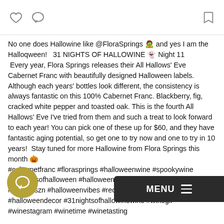[social media post header icons: heart, comment, bookmark]
No one does Hallowine like @FloraSprings 🧟 and yes I am the Halloqween!   31 NIGHTS OF HALLOWINE 👻 Night 11  Every year, Flora Springs releases their All Hallows' Eve Cabernet Franc with beautifully designed Halloween labels. Although each years' bottles look different, the consistency is always fantastic on this 100% Cabernet Franc. Blackberry, fig, cracked white pepper and toasted oak. This is the fourth All Hallows' Eve I've tried from them and such a treat to look forward to each year! You can pick one of these up for $60, and they have fantastic aging potential, so get one to try now and one to try in 10 years!  Stay tuned for more Hallowine from Flora Springs this month 🎃 #cabernetfranc #florasprings #halloweenwine #spookywine #31nightsofhalloween #halloweencountdown #hallowqueen #spookyszn #halloweenvibes #redwine #cabfranc #halloweendecor #31nightsofhallowinewine #winegirl #winestagram #winetime #winetasting